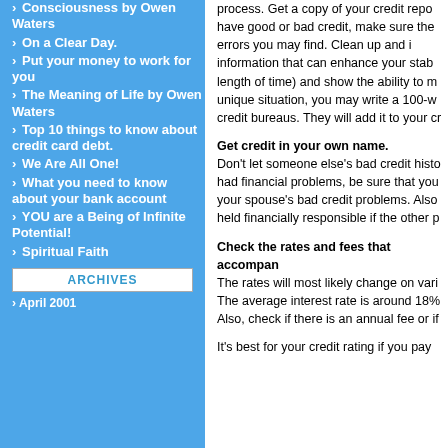Consciousness by Owen Waters
On a Clear Day.
Put your money to work for you
The Meaning of Life by Owen Waters
Top 10 things to know about credit card debt.
We Are All One!
What you need to know about your bank account
YOU are a Being of Infinite Potential!
Spiritual Faith
ARCHIVES
April 2001
process. Get a copy of your credit repo have good or bad credit, make sure the errors you may find. Clean up and i information that can enhance your stab length of time) and show the ability to m unique situation, you may write a 100-w credit bureaus. They will add it to your cr
Get credit in your own name.
Don't let someone else's bad credit histo had financial problems, be sure that you your spouse's bad credit problems. Also held financially responsible if the other p
Check the rates and fees that accompan
The rates will most likely change on vari
The average interest rate is around 18%
Also, check if there is an annual fee or if
It's best for your credit rating if you pay